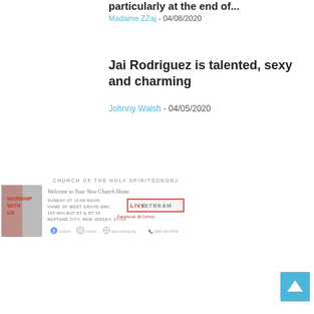particularly at the end of...
Madame ZZaj - 04/08/2020
Jai Rodriguez is talented, sexy and charming
Johnny Walsh - 04/05/2020
[Figure (infographic): Church of the Holy Spirit SONGNJ advertisement banner with worship with us text, church details, live stream info, and social media links]
[Figure (other): Back to top button, light blue square with upward pointing arrow]